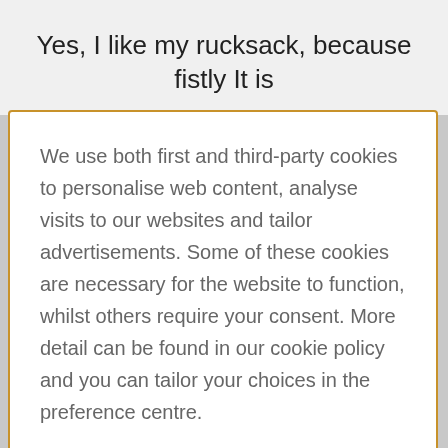Yes, I like my rucksack, because fistly It is
We use both first and third-party cookies to personalise web content, analyse visits to our websites and tailor advertisements. Some of these cookies are necessary for the website to function, whilst others require your consent. More detail can be found in our cookie policy and you can tailor your choices in the preference centre.
Accept All Cookies
Cookies Settings